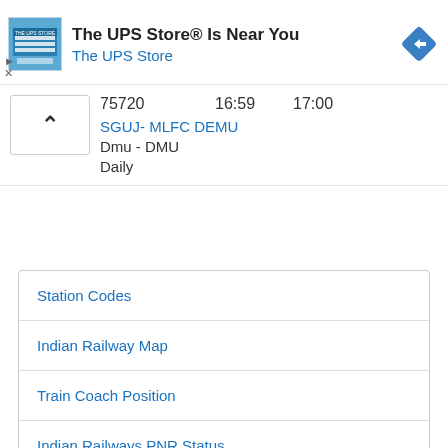[Figure (screenshot): UPS Store advertisement banner with logo, text 'The UPS Store® Is Near You', subtitle 'The UPS Store', and navigation diamond icon]
| Train | Arrival | Departure |
| --- | --- | --- |
| 75720 | 16:59 | 17:00 |
| SGUJ- MLFC DEMU |  |  |
| Dmu - DMU |  |  |
| Daily |  |  |
Station Codes
Indian Railway Map
Train Coach Position
Indian Railways PNR Status